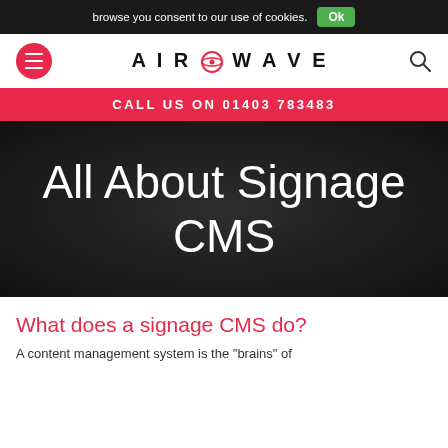browse you consent to our use of cookies. Ok
[Figure (logo): Airwave logo with hamburger menu button and search icon in navigation bar]
CALL US ON 01403 783483
All About Signage CMS
What does a signage CMS do?
A content management system is the "brains" of